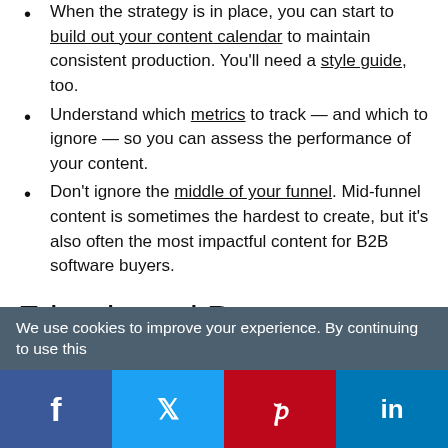When the strategy is in place, you can start to build out your content calendar to maintain consistent production. You'll need a style guide, too.
Understand which metrics to track — and which to ignore — so you can assess the performance of your content.
Don't ignore the middle of your funnel. Mid-funnel content is sometimes the hardest to create, but it's also often the most impactful content for B2B software buyers.
Friends and Peers
The majority of SMB decision-makers we surveyed said they hear about new software solutions from their friends and peers. Often, buyers don't even know they need a particular product, but a recommendation from a friend carries enough weight for them to check it out.
We use cookies to improve your experience. By continuing to use this